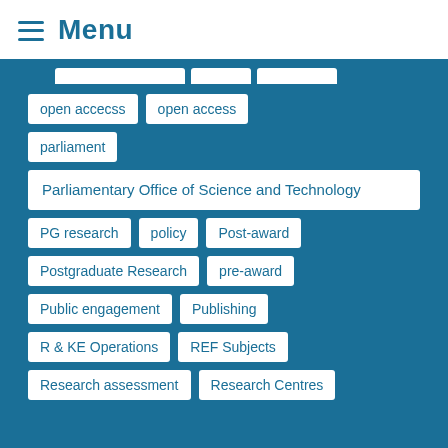Menu
[Figure (screenshot): Navigation tag cloud on a blue background showing clickable topic tags: open accecss, open access, parliament, Parliamentary Office of Science and Technology, PG research, policy, Post-award, Postgraduate Research, pre-award, Public engagement, Publishing, R & KE Operations, REF Subjects, Research assessment, Research Centres]
open accecss
open access
parliament
Parliamentary Office of Science and Technology
PG research
policy
Post-award
Postgraduate Research
pre-award
Public engagement
Publishing
R & KE Operations
REF Subjects
Research assessment
Research Centres